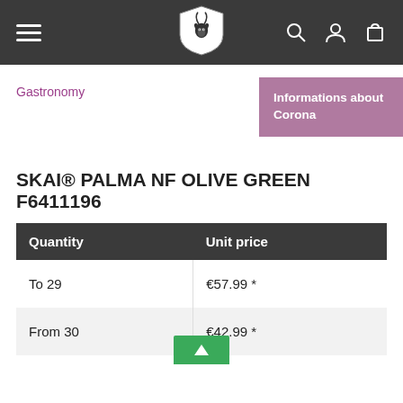Navigation header with hamburger menu, logo, search, account and cart icons
Informations about Corona
Gastronomy
SKAI® PALMA NF OLIVE GREEN F6411196
| Quantity | Unit price |
| --- | --- |
| To 29 | €57.99 * |
| From 30 | €42.99 * |